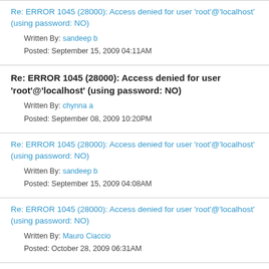Re: ERROR 1045 (28000): Access denied for user 'root'@'localhost' (using password: NO)
Written By: sandeep b
Posted: September 15, 2009 04:11AM
Re: ERROR 1045 (28000): Access denied for user 'root'@'localhost' (using password: NO)
Written By: chynna a
Posted: September 08, 2009 10:20PM
Re: ERROR 1045 (28000): Access denied for user 'root'@'localhost' (using password: NO)
Written By: sandeep b
Posted: September 15, 2009 04:08AM
Re: ERROR 1045 (28000): Access denied for user 'root'@'localhost' (using password: NO)
Written By: Mauro Ciaccio
Posted: October 28, 2009 06:31AM
Re: ERROR 1045 (28000): SOLUTION WORKED for me